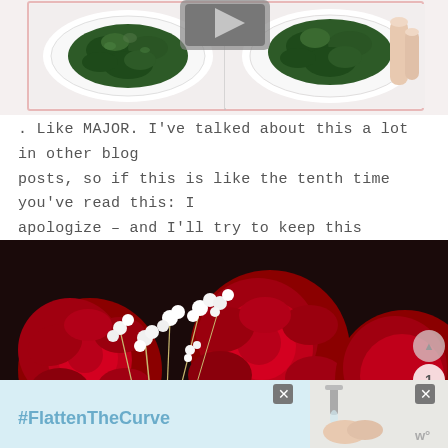[Figure (photo): Two kale chips photos side by side on white plates, one being held by hand, shown against white background with pink border]
. Like MAJOR. I've talked about this a lot in other blog posts, so if this is like the tenth time you've read this: I apologize – and I'll try to keep this brief...
[Figure (photo): Close-up photo of red roses with white baby's breath flowers]
[Figure (photo): Advertisement banner with #FlattenTheCurve text and person washing hands at sink, with close button X]